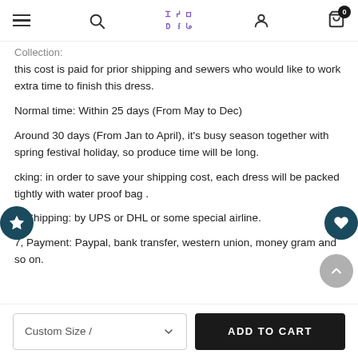Navigation header with hamburger menu, search, logo, user, and cart icons
Collection:
this cost is paid for prior shipping and sewers who would like to work extra time to finish this dress.
Normal time: Within 25 days (From May to Dec)
Around 30 days (From Jan to April), it's busy season together with spring festival holiday, so produce time will be long.
cking: in order to save your shipping cost, each dress will be packed tightly with water proof bag .
6, Shipping: by UPS or DHL or some special airline.
7, Payment: Paypal, bank transfer, western union, money gram and so on.